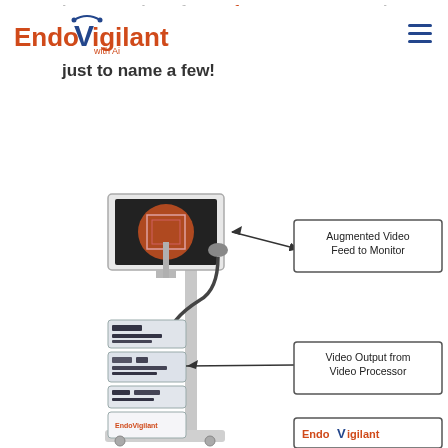EndoVigilant with AI
has a number of great features — automatic, ... collection data and processing software ... annotated picks for saved clips/movies from ... just to name a few!
[Figure (engineering-diagram): EndoVigilant system diagram showing an endoscopy tower with a monitor displaying augmented video. Callouts label 'Augmented Video Feed to Monitor' (pointing to the monitor display) and 'Video Output from Video Processor' (pointing to the video processor unit). At the bottom is the EndoVigilant with AI logo.]